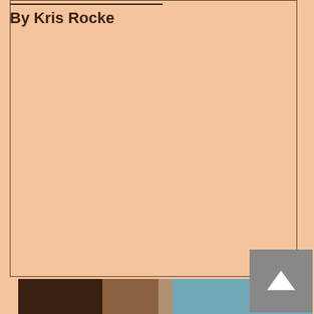By Kris Rocke
[Figure (photo): Partial view of a photograph at the bottom of the page showing people, with browns and teal/blue tones visible]
Scroll to top button (arrow up icon)